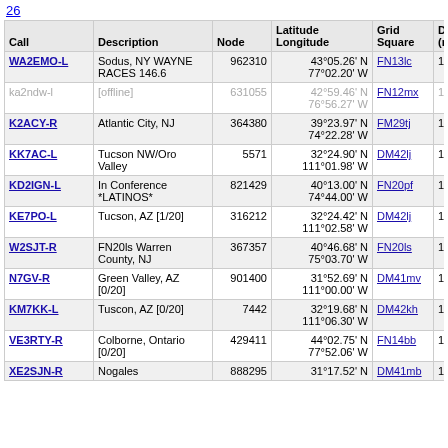26
| Call | Description | Node | Latitude Longitude | Grid Square | Dist (mi) | Freq (Mhz) |
| --- | --- | --- | --- | --- | --- | --- |
| WA2EMO-L | Sodus, NY WAYNE RACES 146.6 | 962310 | 43°05.26' N 77°02.20' W | FN13lc | 1098.8 |  |
| ka2ndw-l | [offline] | 631055 | 42°59.46' N 76°56.27' W | FN12mx | 1098.8 |  |
| K2ACY-R | Atlantic City, NJ | 364380 | 39°23.97' N 74°22.28' W | FM29tj | 1099.3 | 447.5 |
| KK7AC-L | Tucson NW/Oro Valley | 5571 | 32°24.90' N 111°01.98' W | DM42lj | 1102.0 | 446.5 |
| KD2IGN-L | In Conference *LATINOS* | 821429 | 40°13.00' N 74°44.00' W | FN20pf | 1102.4 | 144.0 |
| KE7PO-L | Tucson, AZ [1/20] | 316212 | 32°24.42' N 111°02.58' W | DM42lj | 1102.6 |  |
| W2SJT-R | FN20ls Warren County, NJ | 367357 | 40°46.68' N 75°03.70' W | FN20ls | 1102.9 | 146.8 |
| N7GV-R | Green Valley, AZ [0/20] | 901400 | 31°52.69' N 111°00.00' W | DM41mv | 1104.2 |  |
| KM7KK-L | Tuscon, AZ [0/20] | 7442 | 32°19.68' N 111°06.30' W | DM42kh | 1106.8 |  |
| VE3RTY-R | Colborne, Ontario [0/20] | 429411 | 44°02.75' N 77°52.06' W | FN14bb | 1108.0 |  |
| XE2SJN-R | Nogales | 888295 | 31°17.52' N | DM41mb | 1109.9 | 147. |